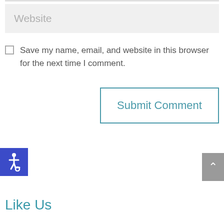Website
Save my name, email, and website in this browser for the next time I comment.
Submit Comment
[Figure (illustration): Accessibility icon (wheelchair symbol) on blue square background]
[Figure (illustration): Scroll to top button with upward caret arrow on grey background]
Like Us